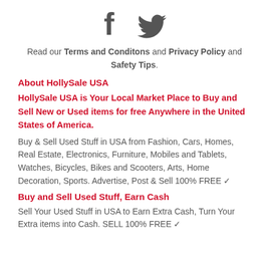[Figure (illustration): Facebook and Twitter social media icons in dark gray]
Read our Terms and Conditons and Privacy Policy and Safety Tips.
About HollySale USA
HollySale USA is Your Local Market Place to Buy and Sell New or Used items for free Anywhere in the United States of America.
Buy & Sell Used Stuff in USA from Fashion, Cars, Homes, Real Estate, Electronics, Furniture, Mobiles and Tablets, Watches, Bicycles, Bikes and Scooters, Arts, Home Decoration, Sports. Advertise, Post & Sell 100% FREE ✓
Buy and Sell Used Stuff, Earn Cash
Sell Your Used Stuff in USA to Earn Extra Cash, Turn Your Extra items into Cash. SELL 100% FREE ✓